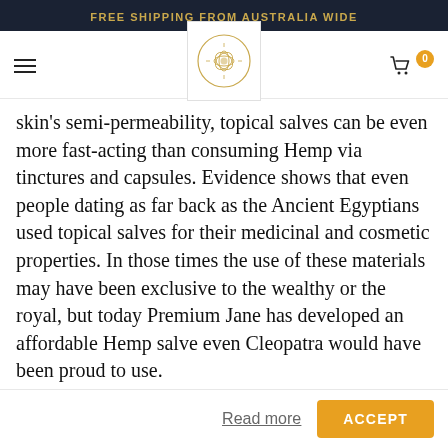FREE SHIPPING FROM AUSTRALIA WIDE
[Figure (logo): Circular ornamental logo with floral/botanical motif in gold on white background]
skin's semi-permeability, topical salves can be even more fast-acting than consuming Hemp via tinctures and capsules. Evidence shows that even people dating as far back as the Ancient Egyptians used topical salves for their medicinal and cosmetic properties. In those times the use of these materials may have been exclusive to the wealthy or the royal, but today Premium Jane has developed an affordable Hemp salve even Cleopatra would have been proud to use.
Cookies & Privacy
We use cookies to ensure that we give you the best experience on our website. If you continue to use this site we will assume that you are happy with it.
Read more
ACCEPT